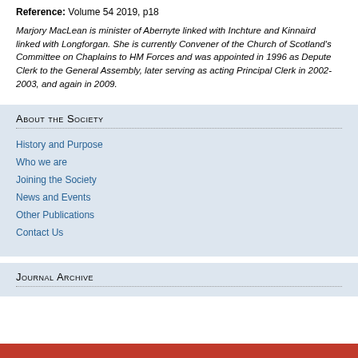Reference: Volume 54 2019, p18
Marjory MacLean is minister of Abernyte linked with Inchture and Kinnaird linked with Longforgan. She is currently Convener of the Church of Scotland's Committee on Chaplains to HM Forces and was appointed in 1996 as Depute Clerk to the General Assembly, later serving as acting Principal Clerk in 2002- 2003, and again in 2009.
About the Society
History and Purpose
Who we are
Joining the Society
News and Events
Other Publications
Contact Us
Journal Archive